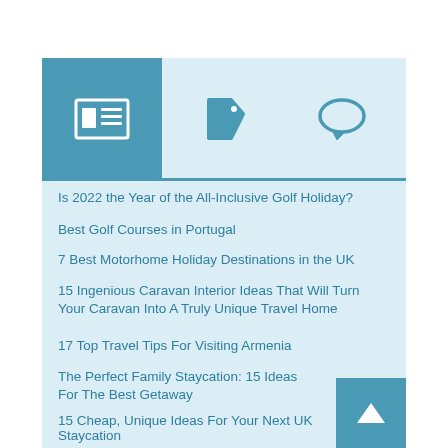[Figure (infographic): Navigation header with three icon tabs: active newspaper/article icon on teal background (left), tag/label icon (center), speech bubble/comment icon (right), on light blue background]
Is 2022 the Year of the All-Inclusive Golf Holiday?
Best Golf Courses in Portugal
7 Best Motorhome Holiday Destinations in the UK
15 Ingenious Caravan Interior Ideas That Will Turn Your Caravan Into A Truly Unique Travel Home
17 Top Travel Tips For Visiting Armenia
The Perfect Family Staycation: 15 Ideas For The Best Getaway
15 Cheap, Unique Ideas For Your Next UK Staycation
Italy: A Traveler's Guide To The Best Family Tours In Italy